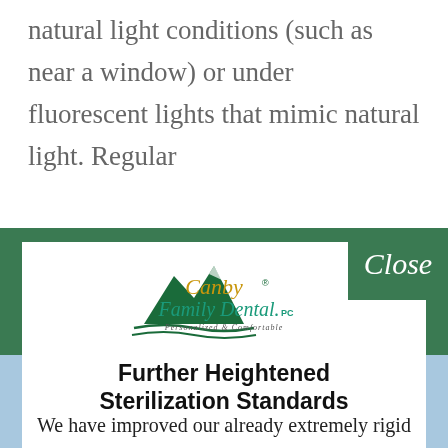natural light conditions (such as near a window) or under fluorescent lights that mimic natural light. Regular
[Figure (logo): Canby Family Dental PC logo with mountain graphic, orange 'Canby' text, teal 'Family Dental.PC' text, tagline 'Personalized & Comfortable']
Further Heightened Sterilization Standards
We have improved our already extremely rigid sterilization standards in order to virtually eliminate the